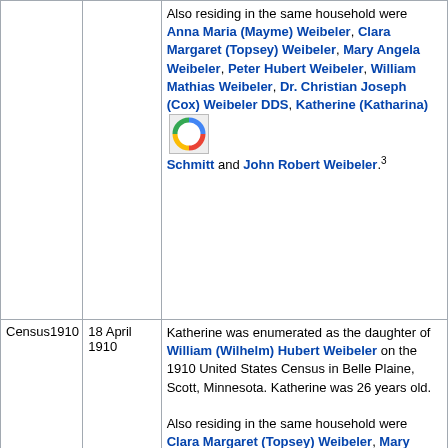| Event | Date | Description |
| --- | --- | --- |
|  |  | Also residing in the same household were Anna Maria (Mayme) Weibeler, Clara Margaret (Topsey) Weibeler, Mary Angela Weibeler, Peter Hubert Weibeler, William Mathias Weibeler, Dr. Christian Joseph (Cox) Weibeler DDS, Katherine (Katharina) Schmitt and John Robert Weibeler.³ |
| Census1910 | 18 April 1910 | Katherine was enumerated as the daughter of William (Wilhelm) Hubert Weibeler on the 1910 United States Census in Belle Plaine, Scott, Minnesota. Katherine was 26 years old.

Also residing in the same household were Clara Margaret (Topsey) Weibeler, Mary Angela Weibeler, John Robert Weibeler and Dr. Christian Joseph (Cox) Weibeler DDS.⁴ |
| Occupation | 1920 | Katherine (Kate) Weibeler was a confection merchant in 1920 at Belle Plaine, Scott, Minnesota, United States ⁵ |
| Census1920 | 20 January 1920 | Katherine was enumerated as the daughter of William (Wilhelm) Hubert Weibeler on the 1920 United States Census in Belle Plaine, Scott, Minnesota. Katherine was 36 years old.⁵ |